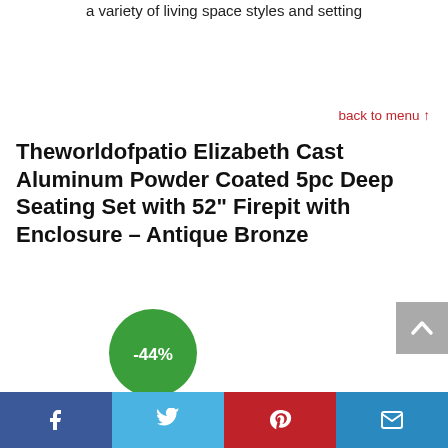a variety of living space styles and setting
back to menu ↑
Theworldofpatio Elizabeth Cast Aluminum Powder Coated 5pc Deep Seating Set with 52" Firepit with Enclosure – Antique Bronze
[Figure (infographic): Green circular badge showing -44% discount]
[Figure (other): Gray scroll-to-top button with upward chevron arrow]
[Figure (infographic): Social sharing bar with Facebook, Twitter, Pinterest, and Email buttons]